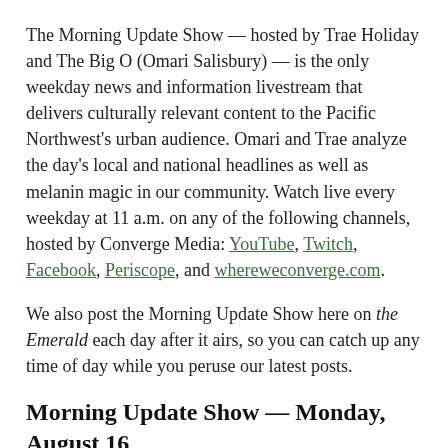The Morning Update Show — hosted by Trae Holiday and The Big O (Omari Salisbury) — is the only weekday news and information livestream that delivers culturally relevant content to the Pacific Northwest's urban audience. Omari and Trae analyze the day's local and national headlines as well as melanin magic in our community. Watch live every weekday at 11 a.m. on any of the following channels, hosted by Converge Media: YouTube, Twitch, Facebook, Periscope, and whereweconverge.com.
We also post the Morning Update Show here on the Emerald each day after it airs, so you can catch up any time of day while you peruse our latest posts.
Morning Update Show — Monday, August 16
Welcome to Converge Media's New Studio! | Walkout at